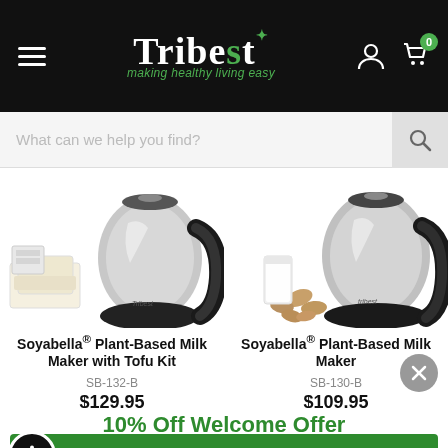Tribest — making healthy living easy
What can we help you find?
[Figure (photo): Soyabella Plant-Based Milk Maker with Tofu Kit product photo — stainless steel electric milk maker with black handle, beside tofu blocks and white molds]
Soyabella® Plant-Based Milk Maker with Tofu Kit
SB-132-B
$129.95
[Figure (photo): Soyabella Plant-Based Milk Maker product photo — stainless steel electric milk maker with black handle, beside a glass of milk and almonds]
Soyabella® Plant-Based Milk Maker
SB-130-B
$109.95
10% Off Welcome Offer
SIGN UP